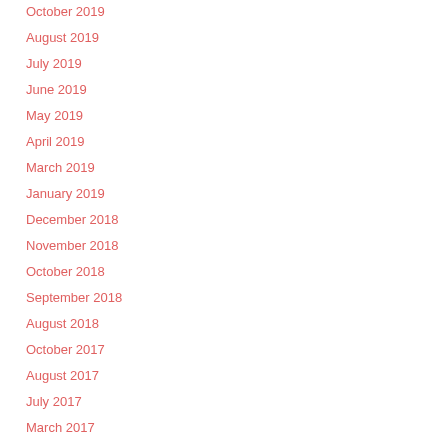October 2019
August 2019
July 2019
June 2019
May 2019
April 2019
March 2019
January 2019
December 2018
November 2018
October 2018
September 2018
August 2018
October 2017
August 2017
July 2017
March 2017